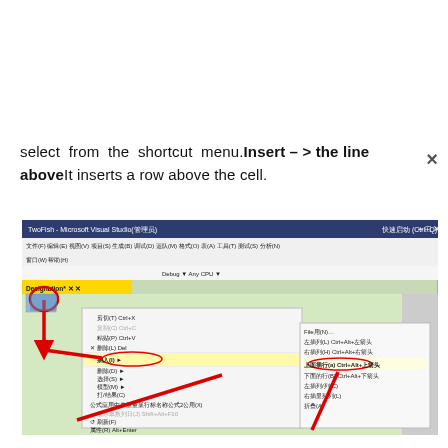select from the shortcut menu.Insert -> the line above It inserts a row above the cell.
[Figure (screenshot): Screenshot of Microsoft Visual Studio (TwoFish project) showing a context menu with 'Insert' submenu open, and a secondary submenu showing options including 'Insert row above (a)' highlighted with red arrows pointing to it. The UI is in Chinese.]